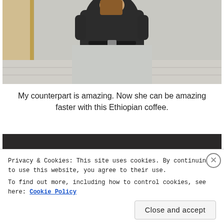[Figure (photo): A person wearing a light grey long skirt and dark jacket, holding coffee, standing indoors near a wooden frame structure. The photo is cropped showing the torso and lower body.]
My counterpart is amazing. Now she can be amazing faster with this Ethiopian coffee.
[Figure (photo): Partially visible dark-toned photo below the caption, mostly obscured by the cookie consent banner.]
Privacy & Cookies: This site uses cookies. By continuing to use this website, you agree to their use.
To find out more, including how to control cookies, see here: Cookie Policy
Close and accept